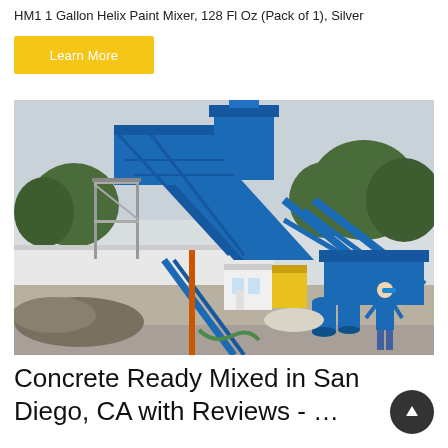HM1 1 Gallon Helix Paint Mixer, 128 Fl Oz (Pack of 1), Silver
Learn More
[Figure (photo): Large blue industrial concrete batch plant/mixing facility with steel frame structure, conveyor belts, silos, a small white control booth, blue barrels, and a worker in a blue jacket and hard hat standing in the foreground on a concrete yard with trees in the background.]
Concrete Ready Mixed in San Diego, CA with Reviews - …